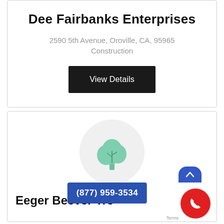Dee Fairbanks Enterprises
2590 5th Avenue, Oroville, CA, 95965
Construction
View Details
[Figure (logo): Green tree icon inside a light gray circle, representing a tree service company logo]
Eeger Beever Tre
(877) 959-3534